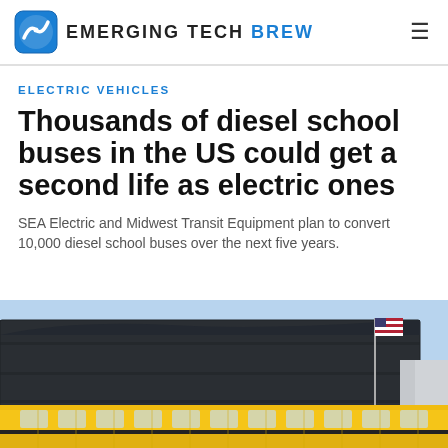Emerging Tech Brew
ELECTRIC VEHICLES
Thousands of diesel school buses in the US could get a second life as electric ones
SEA Electric and Midwest Transit Equipment plan to convert 10,000 diesel school buses over the next five years.
[Figure (photo): Yellow school bus in front of a large industrial/commercial building with a US flag, blue sky background]